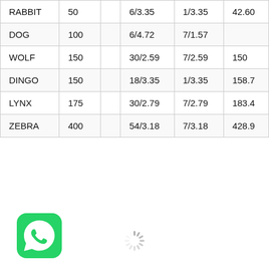| RABBIT | 50 |  | 6/3.35 | 1/3.35 | 42.60 |
| DOG | 100 |  | 6/4.72 | 7/1.57 |  |
| WOLF | 150 |  | 30/2.59 | 7/2.59 | 150 |
| DINGO | 150 |  | 18/3.35 | 1/3.35 | 158.7 |
| LYNX | 175 |  | 30/2.79 | 7/2.79 | 183.4 |
| ZEBRA | 400 |  | 54/3.18 | 7/3.18 | 428.9 |